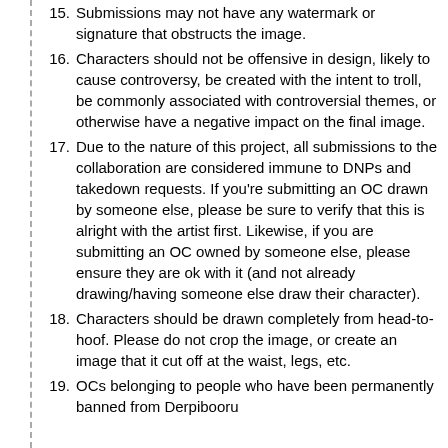15. Submissions may not have any watermark or signature that obstructs the image.
16. Characters should not be offensive in design, likely to cause controversy, be created with the intent to troll, be commonly associated with controversial themes, or otherwise have a negative impact on the final image.
17. Due to the nature of this project, all submissions to the collaboration are considered immune to DNPs and takedown requests. If you're submitting an OC drawn by someone else, please be sure to verify that this is alright with the artist first. Likewise, if you are submitting an OC owned by someone else, please ensure they are ok with it (and not already drawing/having someone else draw their character).
18. Characters should be drawn completely from head-to-hoof. Please do not crop the image, or create an image that it cut off at the waist, legs, etc.
19. OCs belonging to people who have been permanently banned from Derpibooru